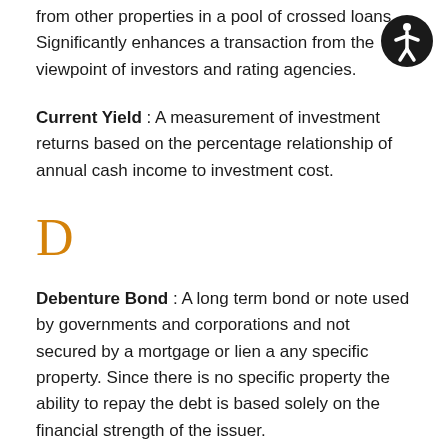from other properties in a pool of crossed loans. Significantly enhances a transaction from the viewpoint of investors and rating agencies.
Current Yield : A measurement of investment returns based on the percentage relationship of annual cash income to investment cost.
D
Debenture Bond : A long term bond or note used by governments and corporations and not secured by a mortgage or lien a any specific property. Since there is no specific property the ability to repay the debt is based solely on the financial strength of the issuer.